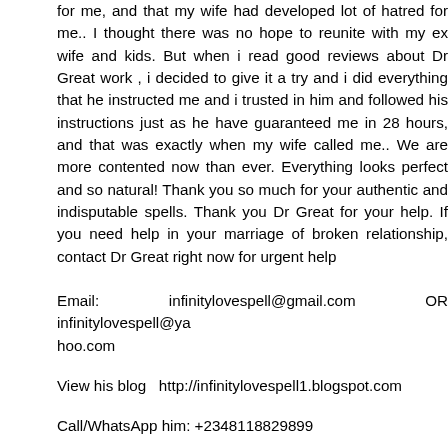for me, and that my wife had developed lot of hatred for me.. I thought there was no hope to reunite with my ex wife and kids. But when i read good reviews about Dr Great work , i decided to give it a try and i did everything that he instructed me and i trusted in him and followed his instructions just as he have guaranteed me in 28 hours, and that was exactly when my wife called me.. We are more contented now than ever. Everything looks perfect and so natural! Thank you so much for your authentic and indisputable spells. Thank you Dr Great for your help. If you need help in your marriage of broken relationship, contact Dr Great right now for urgent help
Email: infinitylovespell@gmail.com OR infinitylovespell@yahoo.com
View his blog  http://infinitylovespell1.blogspot.com
Call/WhatsApp him: +2348118829899
Reply